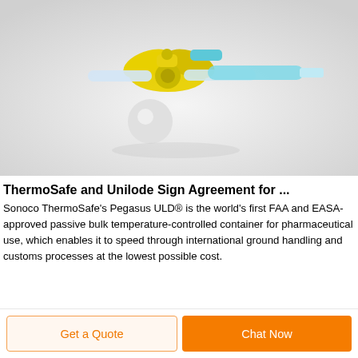[Figure (photo): Photo of medical stopcocks/connectors: yellow butterfly-style stopcock and teal/light-blue syringe connector on a white background]
ThermoSafe and Unilode Sign Agreement for ...
Sonoco ThermoSafe's Pegasus ULD® is the world's first FAA and EASA-approved passive bulk temperature-controlled container for pharmaceutical use, which enables it to speed through international ground handling and customs processes at the lowest possible cost.